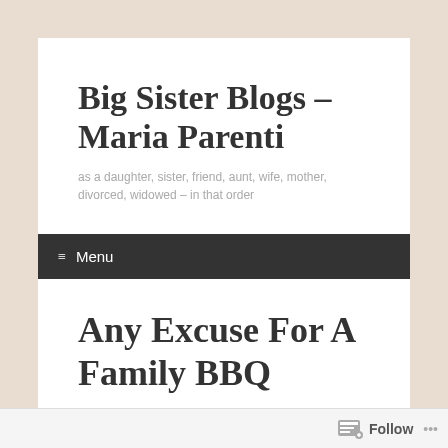Big Sister Blogs – Maria Parenti
as a daughter, sister, friend, aunt, wife, mother, divorced, widowed – in that order
≡ Menu
Any Excuse For A Family BBQ
Follow ...